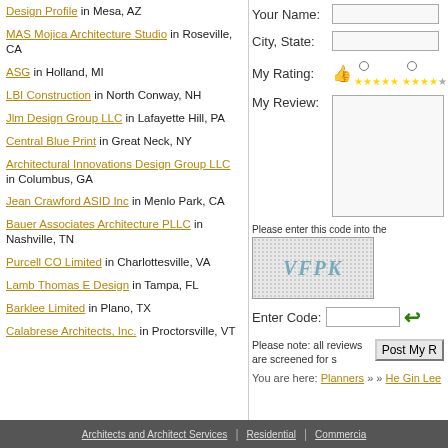Design Profile in Mesa, AZ
MAS Mojica Architecture Studio in Roseville, CA
ASG in Holland, MI
LBI Construction in North Conway, NH
Jlm Design Group LLC in Lafayette Hill, PA
Central Blue Print in Great Neck, NY
Architectural Innovations Design Group LLC in Columbus, GA
Jean Crawford ASID Inc in Menlo Park, CA
Bauer Associates Architecture PLLC in Nashville, TN
Purcell CO Limited in Charlottesville, VA
Lamb Thomas E Design in Tampa, FL
Barklee Limited in Plano, TX
Calabrese Architects, Inc. in Proctorsville, VT
Your Name:
City, State:
My Rating:
My Review:
Please enter this code into the:
[Figure (other): CAPTCHA image showing text VFPK in a dotted/grainy background]
Enter Code:
Post My Review
Please note: all reviews are screened for s
You are here: Planners » » He Gin Lee
Architects and Architect Services | Residential | Commercial | Consultants and Planners | Support Services | Add Your Biz - Architects